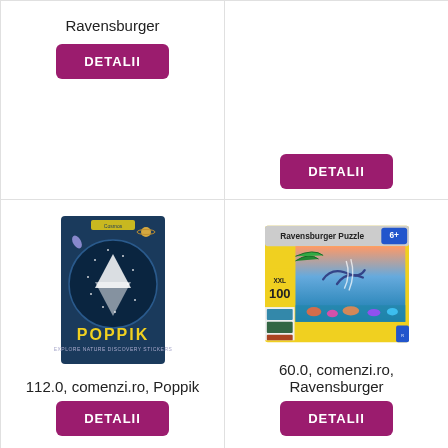Ravensburger
DETALII
DETALII
[Figure (photo): Poppik discovery stickers book with constellation design]
[Figure (photo): Ravensburger Puzzle 100 XXL piece box with ocean/dolphin scene]
112.0, comenzi.ro, Poppik
60.0, comenzi.ro, Ravensburger
DETALII
DETALII